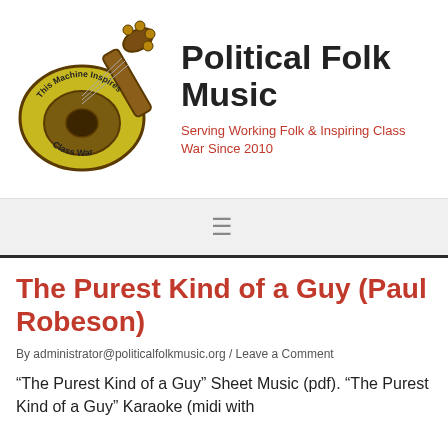[Figure (logo): Guitar logo with heart-shaped body in yellow-green, brown neck, text 'This Machine Inspires Class War' around the body]
Political Folk Music
Serving Working Folk & Inspiring Class War Since 2010
The Purest Kind of a Guy (Paul Robeson)
By administrator@politicalfolkmusic.org / Leave a Comment
“The Purest Kind of a Guy” Sheet Music (pdf). “The Purest Kind of a Guy” Karaoke (midi with